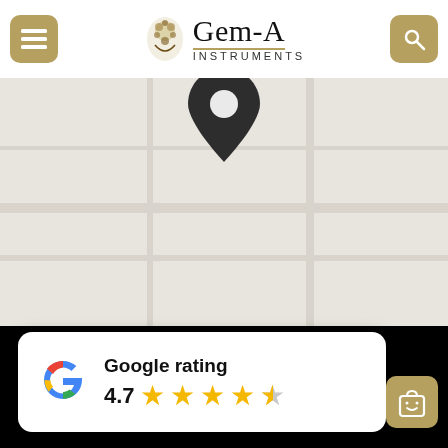[Figure (logo): Gem-A Instruments logo with crest icon and text]
[Figure (map): Google Maps style light grey map with a dark location pin marker in the center-top area]
Google rating 4.7 ★★★★☆